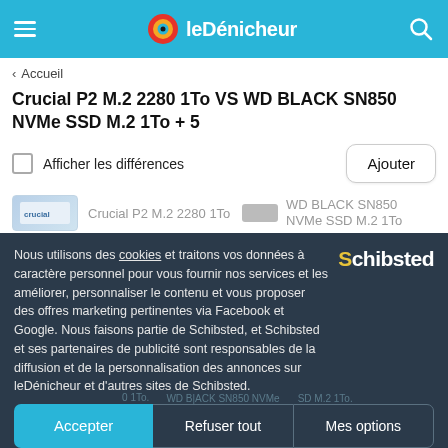leDénicheur
< Accueil
Crucial P2 M.2 2280 1To VS WD BLACK SN850 NVMe SSD M.2 1To + 5
Afficher les différences
Ajouter
Crucial P2 M.2 2280 1To
WD BLACK SN850 NVMe SSD M.2 1To
Nous utilisons des cookies et traitons vos données à caractère personnel pour vous fournir nos services et les améliorer, personnaliser le contenu et vous proposer des offres marketing pertinentes via Facebook et Google. Nous faisons partie de Schibsted, et Schibsted et ses partenaires de publicité sont responsables de la diffusion et de la personnalisation des annonces sur leDénicheur et d'autres sites de Schibsted.
Accepter
Refuser tout
Mes options